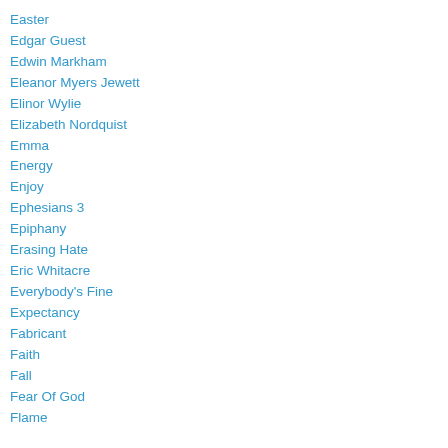Easter
Edgar Guest
Edwin Markham
Eleanor Myers Jewett
Elinor Wylie
Elizabeth Nordquist
Emma
Energy
Enjoy
Ephesians 3
Epiphany
Erasing Hate
Eric Whitacre
Everybody's Fine
Expectancy
Fabricant
Faith
Fall
Fear Of God
Flame